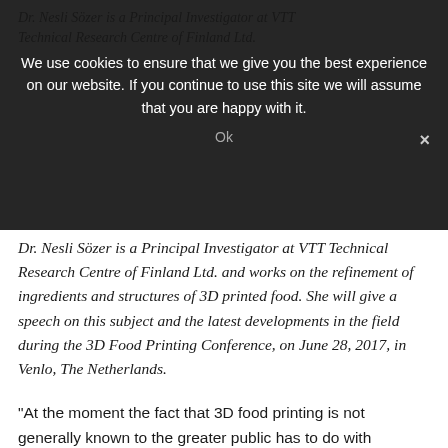Dr. Nesli Sözer is a Principal Investigator at VTT Technical Research Centre of Finland Ltd. and works on the refinement of ingredients and structures of 3D printed food. She will give a speech on this subject and the latest developments in the field during the 3D Food Printing Conference, on June 28, 2017, in Venlo, The Netherlands.
“At the moment the fact that 3D food printing is not generally known to the greater public has to do with challenges associated with ingredient mix rheology (study of flow of mass), shape and structure accuracy, material memory, compatibility with traditional food processing technologies and the low printing speed of